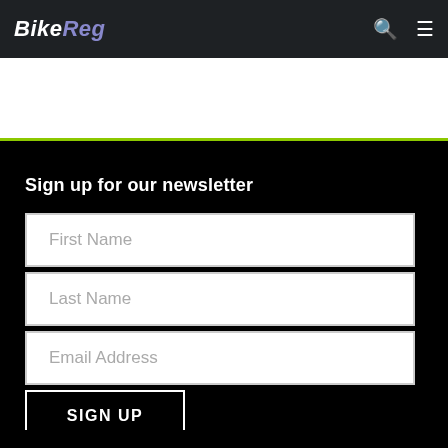BikeReg
Sign up for our newsletter
First Name
Last Name
Email Address
SIGN UP
About BikeReg
Support